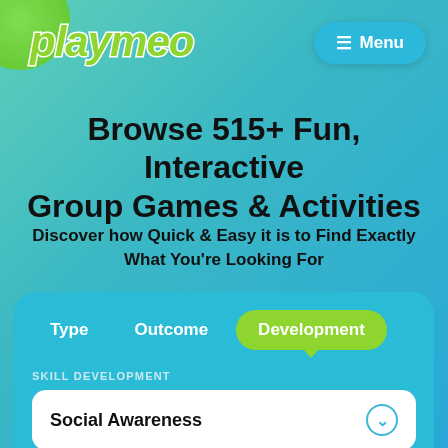[Figure (logo): Playmeo logo in green italic bold text with white stroke]
[Figure (screenshot): Menu button (hamburger icon) in teal rounded rectangle]
Browse 515+ Fun, Interactive Group Games & Activities
Discover how Quick & Easy it is to Find Exactly What You're Looking For
[Figure (screenshot): Filter card with tabs: Type, Outcome, Development (active/selected in green). Skill Development dropdown showing Social Awareness.]